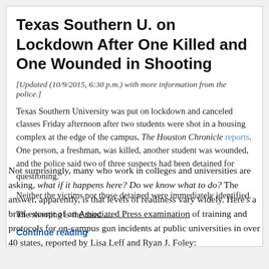[Figure (screenshot): Screenshot of a news article card with headline 'Texas Southern U. on Lockdown After One Killed and One Wounded in Shooting', an update note, body text, and a 'Continue reading' link.]
Not surprisingly, many who work in colleges and universities are asking, what if it happens here? Do we know what to do? The answer, apparently, is that levels of readiness vary widely. Here's a brief excerpt of an Associated Press examination of training and protocols for on-campus gun incidents at public universities in over 40 states, reported by Lisa Leff and Ryan J. Foley: